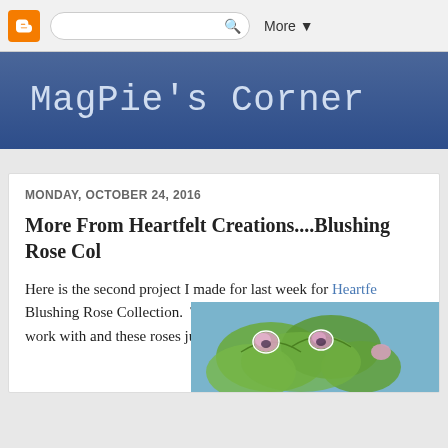[Figure (screenshot): Blogger browser toolbar with orange Blogger icon, search box, and More dropdown button]
MagPie's Corner
MONDAY, OCTOBER 24, 2016
More From Heartfelt Creations....Blushing Rose Col
Here is the second project I made for last week for Heartfelt Blushing Rose Collection.  The stamps, dies and papers are so fun to work with and these roses just speak to me!
[Figure (photo): Partial view of a crafting project featuring green foliage and pink rose die cuts on a blue background]